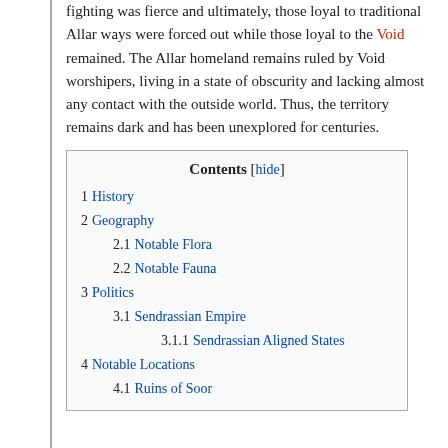fighting was fierce and ultimately, those loyal to traditional Allar ways were forced out while those loyal to the Void remained. The Allar homeland remains ruled by Void worshipers, living in a state of obscurity and lacking almost any contact with the outside world. Thus, the territory remains dark and has been unexplored for centuries.
| Contents [hide] |
| 1 History |
| 2 Geography |
| 2.1 Notable Flora |
| 2.2 Notable Fauna |
| 3 Politics |
| 3.1 Sendrassian Empire |
| 3.1.1 Sendrassian Aligned States |
| 4 Notable Locations |
| 4.1 Ruins of Soor |